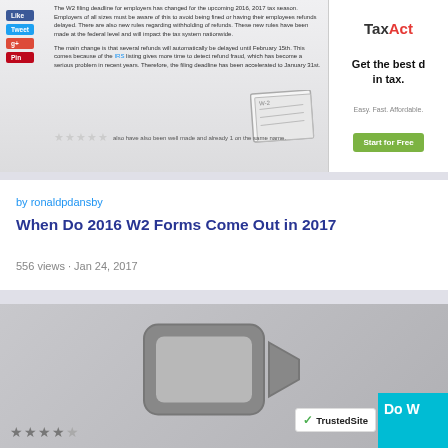[Figure (screenshot): Screenshot of a webpage about W2 filing deadlines with social share buttons, article text, star rating, and TaxAct advertisement]
by ronaldpdansby
When Do 2016 W2 Forms Come Out in 2017
556 views · Jan 24, 2017
[Figure (screenshot): Video thumbnail with camera icon graphic on gray background, star ratings at bottom, TrustedSite badge, and partial cyan overlay with text 'Do W']